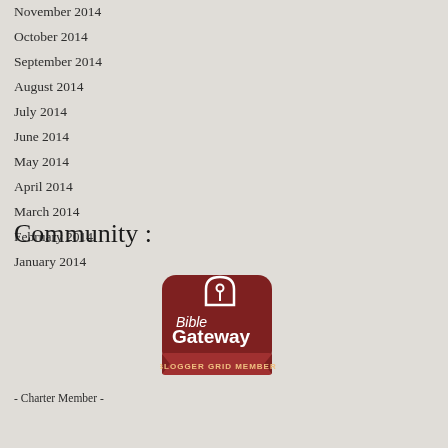November 2014
October 2014
September 2014
August 2014
July 2014
June 2014
May 2014
April 2014
March 2014
February 2014
January 2014
Community :
[Figure (logo): Bible Gateway Blogger Grid Member badge - dark red rounded rectangle shape with arch icon and text]
- Charter Member -